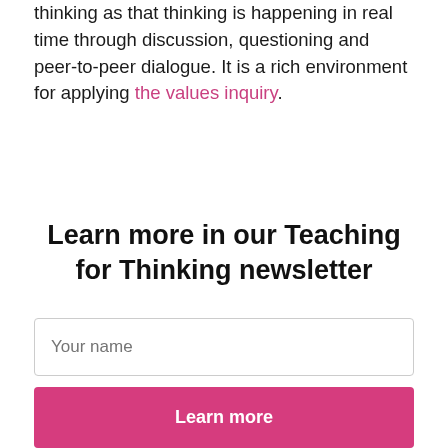thinking as that thinking is happening in real time through discussion, questioning and peer-to-peer dialogue. It is a rich environment for applying the values inquiry.
Learn more in our Teaching for Thinking newsletter
Your name
Your email address
Learn more